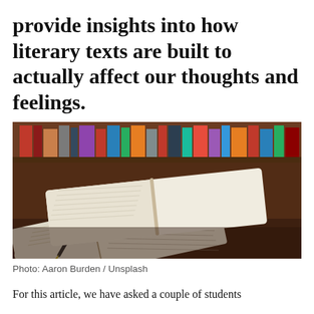provide insights into how literary texts are built to actually affect our thoughts and feelings.
[Figure (photo): Open books with a pen resting on them, placed on a dark wooden table with bookshelves blurred in the background.]
Photo: Aaron Burden / Unsplash
For this article, we have asked a couple of students